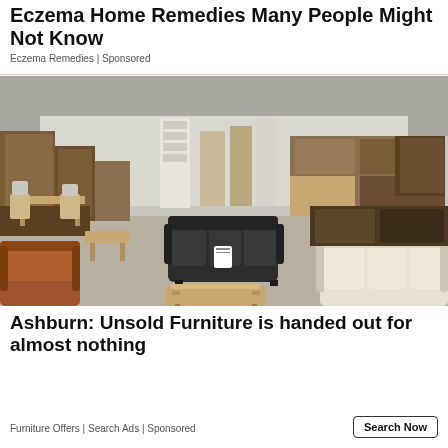Eczema Home Remedies Many People Might Not Know
Eczema Remedies | Sponsored
[Figure (photo): Large warehouse or showroom filled with wooden furniture including tables, chairs, cabinets, and sofas. A dark leather sofa is visible in the center, with a brown leather armchair in the foreground and a cream sofa on the right.]
Ashburn: Unsold Furniture is handed out for almost nothing
Furniture Offers | Search Ads | Sponsored